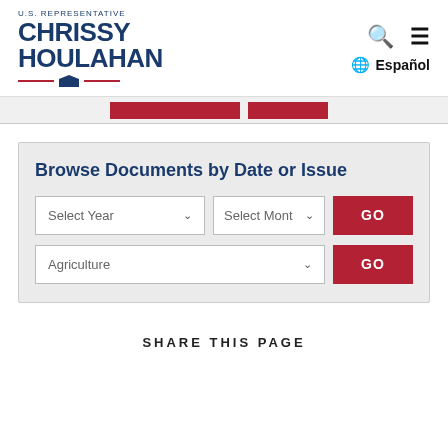U.S. REPRESENTATIVE CHRISSY HOULAHAN
[Figure (screenshot): Red navigation bar stubs partially visible]
Browse Documents by Date or Issue
Select Year dropdown, Select Month dropdown, GO button, Agriculture dropdown, GO button
SHARE THIS PAGE